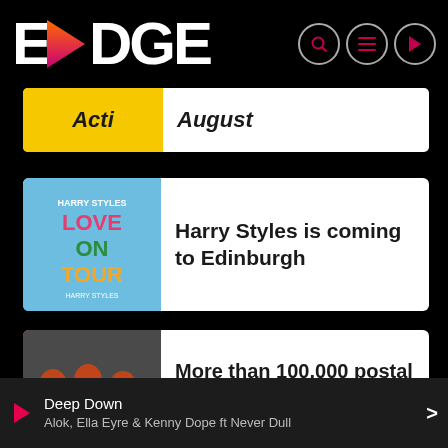EDGE
Acti August
Harry Styles is coming to Edinburgh
More than 100,000 postal workers will walk out tomorrow
AWARDS
[Figure (logo): Partial logo visible at bottom of awards card]
Deep Down
Alok, Ella Eyre & Kenny Dope ft Never Dull